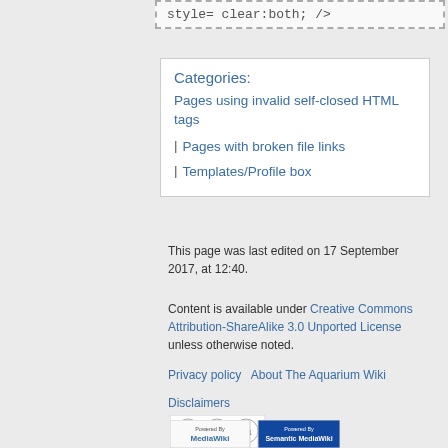style= clear:both; />
Categories:
Pages using invalid self-closed HTML tags
Pages with broken file links
Templates/Profile box
This page was last edited on 17 September 2017, at 12:40.
Content is available under Creative Commons Attribution-ShareAlike 3.0 Unported License unless otherwise noted.
Privacy policy · About The Aquarium Wiki
Disclaimers
[Figure (logo): Creative Commons BY-SA license badge]
[Figure (logo): Powered by MediaWiki and Semantic MediaWiki badges]